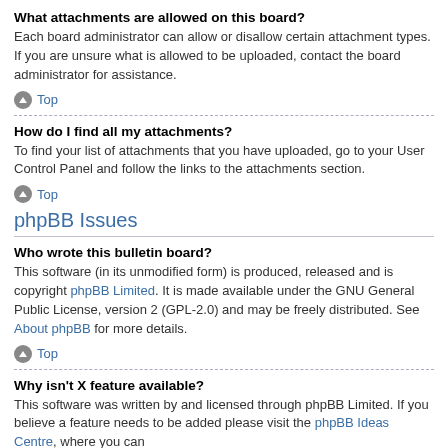What attachments are allowed on this board?
Each board administrator can allow or disallow certain attachment types. If you are unsure what is allowed to be uploaded, contact the board administrator for assistance.
↑ Top
How do I find all my attachments?
To find your list of attachments that you have uploaded, go to your User Control Panel and follow the links to the attachments section.
↑ Top
phpBB Issues
Who wrote this bulletin board?
This software (in its unmodified form) is produced, released and is copyright phpBB Limited. It is made available under the GNU General Public License, version 2 (GPL-2.0) and may be freely distributed. See About phpBB for more details.
↑ Top
Why isn't X feature available?
This software was written by and licensed through phpBB Limited. If you believe a feature needs to be added please visit the phpBB Ideas Centre, where you can